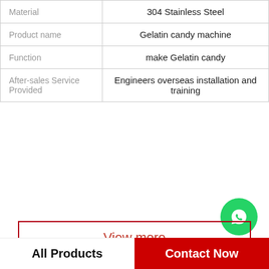| Property | Value |
| --- | --- |
| Material | 304 Stainless Steel |
| Product name | Gelatin candy machine |
| Function | make Gelatin candy |
| After-sales Service Provided | Engineers overseas installation and training |
[Figure (logo): WhatsApp green circle icon with phone handset, labeled WhatsApp Online in bold italic]
View more
Company Profile
Gummy Bear Commercial Manufacture
Phone  +1-395-762-9503
All Products   Contact Now